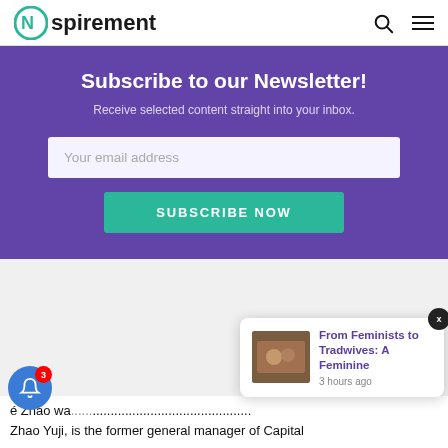Nspirement
[Figure (screenshot): Newsletter subscription box with purple background, email input field, and teal Subscribe Now button]
[Figure (screenshot): Popup notification card: From Feminists to Tradwives: A Feminine, 3 hours ago, with thumbnail image]
[Figure (other): Blue bell notification button with red badge showing 3]
é Zhao wa ... Zhao Yuji, is the former general manager of Capital